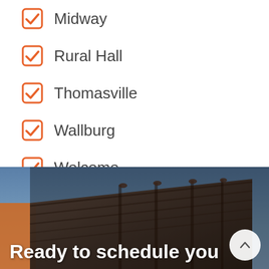Midway
Rural Hall
Thomasville
Wallburg
Welcome
Walkertown
[Figure (photo): Roof tiles photo with text overlay 'Ready to schedule you' and a scroll-up button]